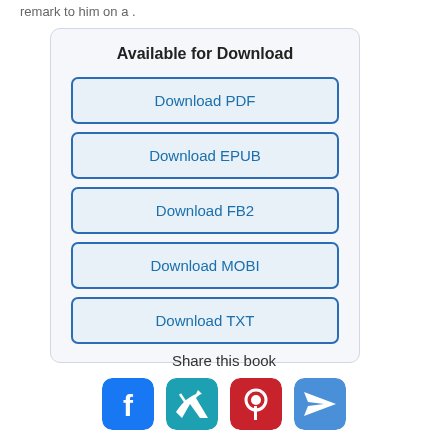remark to him on a .
Available for Download
Download PDF
Download EPUB
Download FB2
Download MOBI
Download TXT
Share this book
[Figure (infographic): Four social sharing icons: Facebook (blue), Twitter (teal), Pinterest (red), and a send/share icon (blue)]